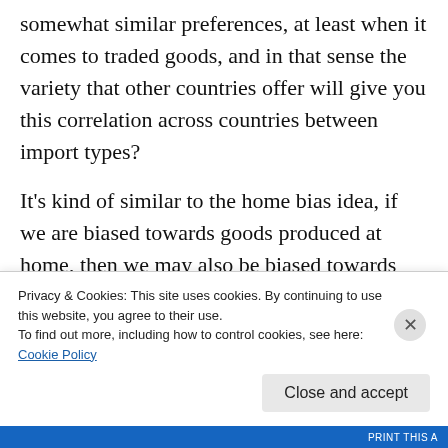somewhat similar preferences, at least when it comes to traded goods, and in that sense the variety that other countries offer will give you this correlation across countries between import types?
It's kind of similar to the home bias idea, if we are biased towards goods produced at home, then we may also be biased towards goods produced abroad that are similar to
Privacy & Cookies: This site uses cookies. By continuing to use this website, you agree to their use.
To find out more, including how to control cookies, see here:
Cookie Policy